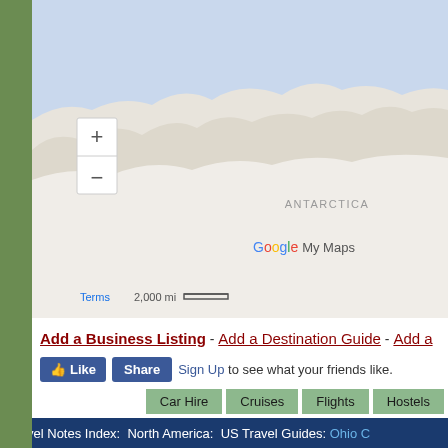[Figure (map): Google My Maps showing Antarctica region with zoom controls, scale bar showing 2,000 mi, and ANTARCTICA label]
Add a Business Listing - Add a Destination Guide - Add a ...
Like | Share | Sign Up to see what your friends like.
If you find Travel Notes useful, please take a moment to ... Facebook and share with your friends on social media.
Meta Search: [Google search box]
Car Hire | Cruises | Flights | Hostels
Travel Notes Index: North America: US Travel Guides: Ohio C...